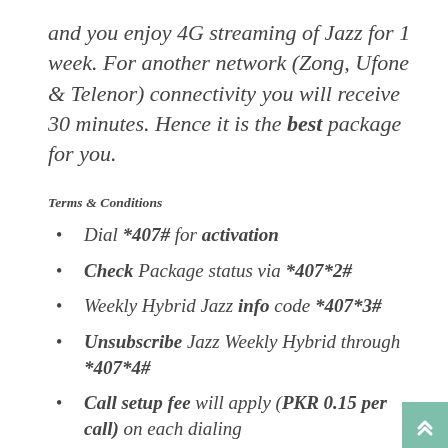and you enjoy 4G streaming of Jazz for 1 week. For another network (Zong, Ufone & Telenor) connectivity you will receive 30 minutes. Hence it is the best package for you.
Terms & Conditions
Dial *407# for activation
Check Package status via *407*2#
Weekly Hybrid Jazz info code *407*3#
Unsubscribe Jazz Weekly Hybrid through *407*4#
Call setup fee will apply (PKR 0.15 per call) on each dialing